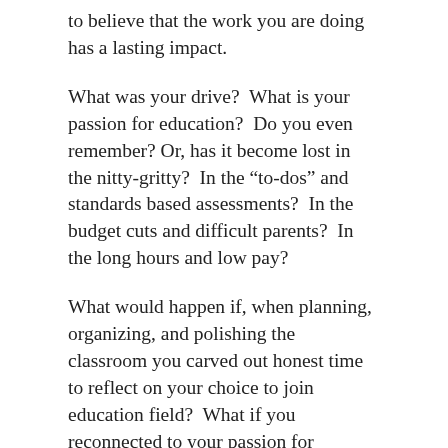to believe that the work you are doing has a lasting impact.
What was your drive?  What is your passion for education?  Do you even remember? Or, has it become lost in the nitty-gritty?  In the “to-dos” and standards based assessments?  In the budget cuts and difficult parents?  In the long hours and low pay?
What would happen if, when planning, organizing, and polishing the classroom you carved out honest time to reflect on your choice to join education field?  What if you reconnected to your passion for _____________ that caused you to become a teacher, counselor, administrator?  What if you wrote down your original hopes and dreams when you thought of becoming an educator and re-read that statement every day?